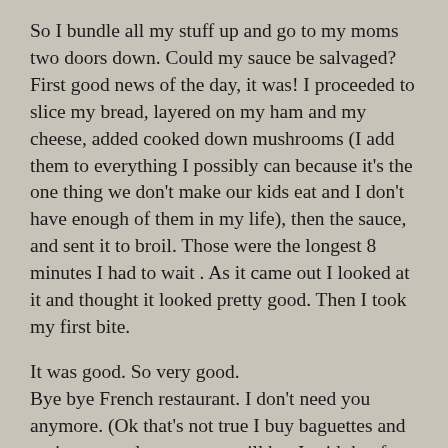So I bundle all my stuff up and go to my moms two doors down.  Could my sauce be salvaged?  First good news of the day, it was!  I proceeded to slice my bread, layered on my ham and my cheese, added cooked down mushrooms (I add them to everything I possibly can because it's the one thing we don't make our kids eat and I don't have enough of them in my life), then the sauce, and sent it to broil. Those were the longest 8 minutes I had to wait . As it came out I looked at it and thought it looked pretty good. Then I took my first bite.
It was good. So very good.
Bye bye French restaurant. I don't need you anymore. (Ok that's not true I buy baguettes and croissants and macaroons still but I said that for the drama factor.  I'll always need a French bakery in my life)
I was pleased with myself. I made more sandwiches for my family, glad for the empty house at my parents that